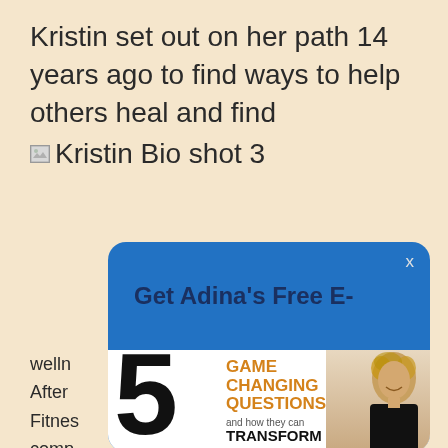Kristin set out on her path 14 years ago to find ways to help others heal and find [Kristin Bio shot 3]
[Figure (screenshot): A modal popup overlay on a webpage. Blue rounded-corner card with white 'x' close button in top right. Title text: 'Get Adina's Free E-'. Below, a white book cover thumbnail showing a large black '5', orange bold text 'GAME CHANGING QUESTIONS', smaller text 'and how they can', bold black text 'TRANSFORM YOUR LIFE'. A smiling woman with curly blonde hair wearing black is shown on the right side of the book cover.]
welln After Fitnes comp broug felt w